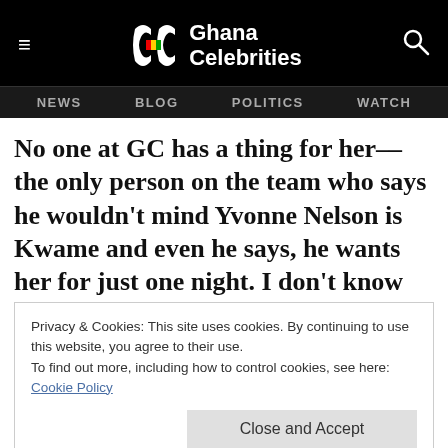Ghana Celebrities — NEWS  BLOG  POLITICS  WATCH
No one at GC has a thing for her––the only person on the team who says he wouldn't mind Yvonne Nelson is Kwame and even he says, he wants her for just one night. I don't know why though!
Privacy & Cookies: This site uses cookies. By continuing to use this website, you agree to their use.
To find out more, including how to control cookies, see here: Cookie Policy
Close and Accept